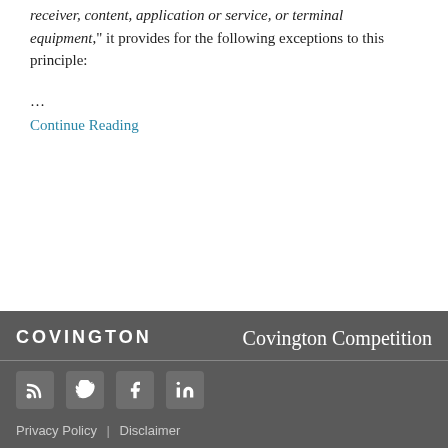receiver, content, application or service, or terminal equipment," it provides for the following exceptions to this principle:
…
Continue Reading
COVINGTON   Covington Competition   Privacy Policy | Disclaimer